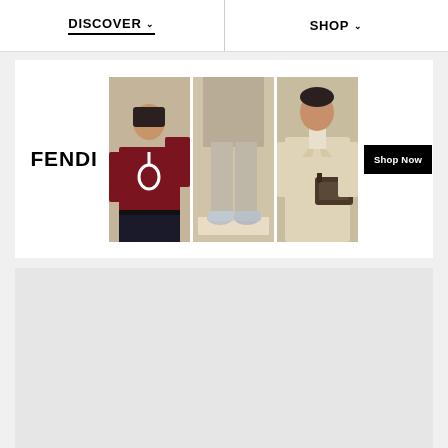DISCOVER   SHOP
[Figure (screenshot): Fendi fashion banner advertisement showing the FENDI logo, three fashion model photos (woman in dark red sweater, person in beige pants with sneakers, man with bag), and a 'Shop Now' button]
[Figure (other): Gray/light background content area below the banner]